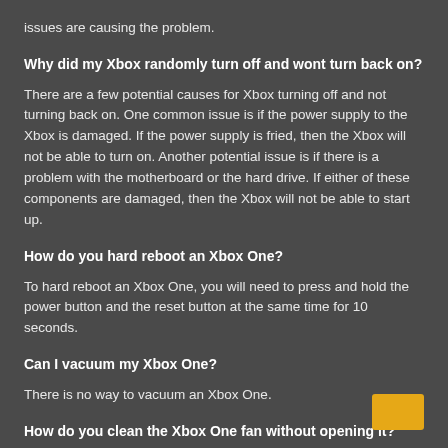issues are causing the problem.
Why did my Xbox randomly turn off and wont turn back on?
There are a few potential causes for Xbox turning off and not turning back on. One common issue is if the power supply to the Xbox is damaged. If the power supply is fried, then the Xbox will not be able to turn on. Another potential issue is if there is a problem with the motherboard or the hard drive. If either of these components are damaged, then the Xbox will not be able to start up.
How do you hard reboot an Xbox One?
To hard reboot an Xbox One, you will need to press and hold the power button and the reset button at the same time for 10 seconds.
Can I vacuum my Xbox One?
There is no way to vacuum an Xbox One.
How do you clean the Xbox One fan without opening it?